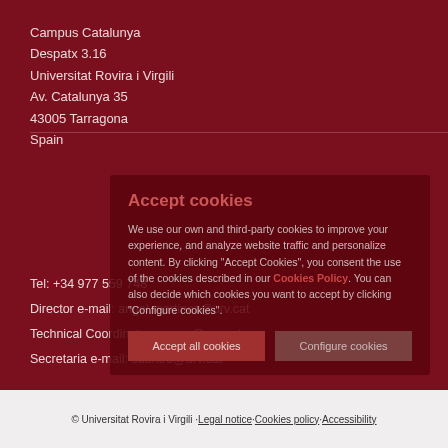Campus Catalunya
Despatx 3.16
Universitat Rovira i Virgili
Av. Catalunya 35
43005 Tarragona
Spain
Tel: +34 977 559 748
Director e-mail: angel.martinez@urv.cat
Technical Coordinators: marc@urv.cat
Secretaria e-mail: sdantro@urv.cat
Accept cookies
We use our own and third-party cookies to improve your experience, and analyze website traffic and personalize content. By clicking "Accept Cookies", you consent the use of the cookies described in our Cookies Policy. You can also decide which cookies you want to accept by clicking "Configure cookies".
© Universitat Rovira i Virgili · Legal notice · Cookies policy · Accessibility